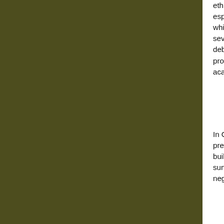ethnology and African history from nineteenth-ce especially through the work of E. Bernheim. His which historically oriented anthropologists only b seventies. But relations between anthropology a debated. As an attempt to understand the curren proposed. Not only two disciplines but three pra academic anthropology, academic historiography
In Chapter 5, "Culture with an Attitude," the issu prerequisite of both viable culture and viable con built on evidence of negation in popular narratolo survival in popular culture generally, and on philo negativity (such as Adorno's "negative dialectic")
Chapter 6, "Hindsight," is the earliest piece in thi because it provides some humorous relief from e makes a transition to the topics of Part II.
Chapter 7, "Curios and Curiosity," recalls an epis comparative reading of reports by Emil Torday a interesting insights on links between objects, ma role that collecting played in the emergence of p
Chapter 8, "Time, Narration, and the Exploration temporality and narrativity. All-pervasive represe discourse that is condemned (or privileged) to te and characterized anthropology even during its r purportedly "synchronic" (or achronic) and syste brings together and further explores certain obse in a number of travelogues reporting on explorat before and during the famous "scramble" for the